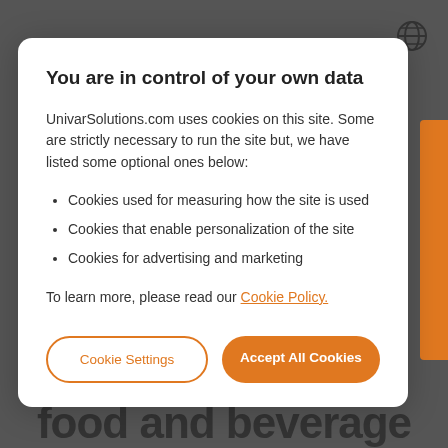You are in control of your own data
UnivarSolutions.com uses cookies on this site. Some are strictly necessary to run the site but, we have listed some optional ones below:
Cookies used for measuring how the site is used
Cookies that enable personalization of the site
Cookies for advertising and marketing
To learn more, please read our Cookie Policy.
Cookie Settings
Accept All Cookies
food and beverage